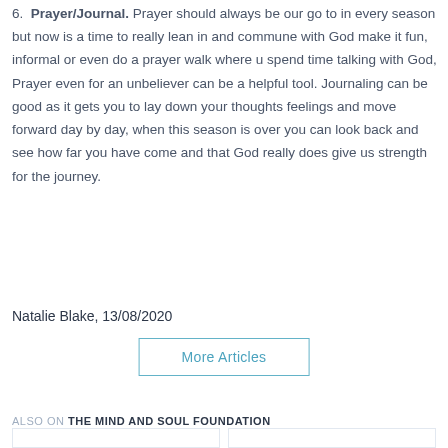6. Prayer/Journal. Prayer should always be our go to in every season but now is a time to really lean in and commune with God make it fun, informal or even do a prayer walk where u spend time talking with God, Prayer even for an unbeliever can be a helpful tool. Journaling can be good as it gets you to lay down your thoughts feelings and move forward day by day, when this season is over you can look back and see how far you have come and that God really does give us strength for the journey.
Natalie Blake, 13/08/2020
More Articles
ALSO ON THE MIND AND SOUL FOUNDATION